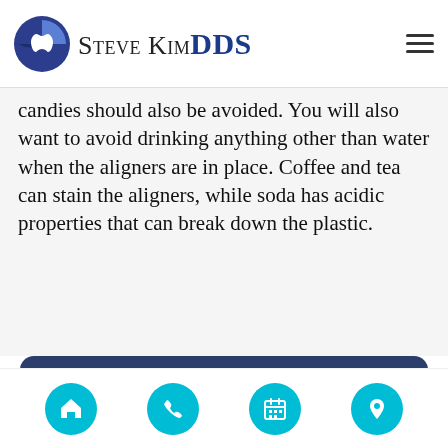[Figure (logo): Steve Kim DDS logo with circular tooth icon and text]
candies should also be avoided. You will also want to avoid drinking anything other than water when the aligners are in place. Coffee and tea can stain the aligners, while soda has acidic properties that can break down the plastic.
Quality Dental Services Can
[Figure (infographic): Bottom navigation bar with four cyan circle buttons: home, phone, calendar, location icons]